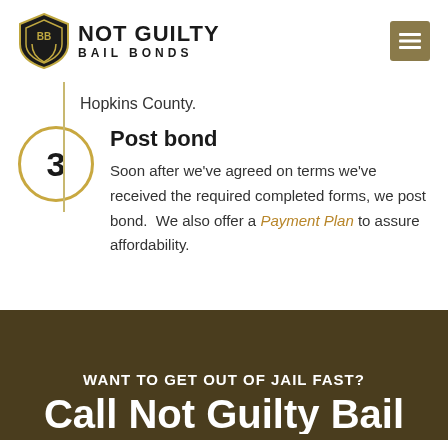[Figure (logo): Not Guilty Bail Bonds logo with shield emblem on the left and text NOT GUILTY / BAIL BONDS on the right]
Hopkins County.
Post bond
Soon after we've agreed on terms we've received the required completed forms, we post bond.  We also offer a Payment Plan to assure affordability.
WANT TO GET OUT OF JAIL FAST?
Call Not Guilty Bail